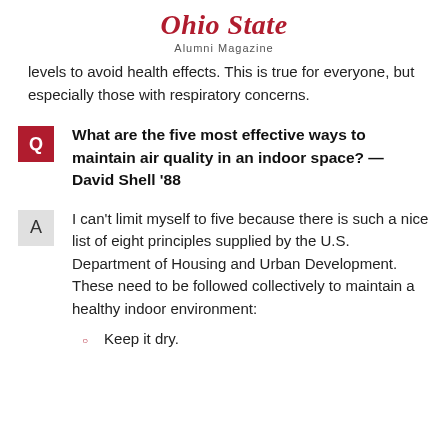Ohio State Alumni Magazine
levels to avoid health effects.  This is true for everyone, but especially those with respiratory concerns.
Q  What are the five most effective ways to maintain air quality in an indoor space? — David Shell '88
A  I can't limit myself to five because there is such a nice list of eight principles supplied by the U.S. Department of Housing and Urban Development. These need to be followed collectively to maintain a healthy indoor environment:
Keep it dry.